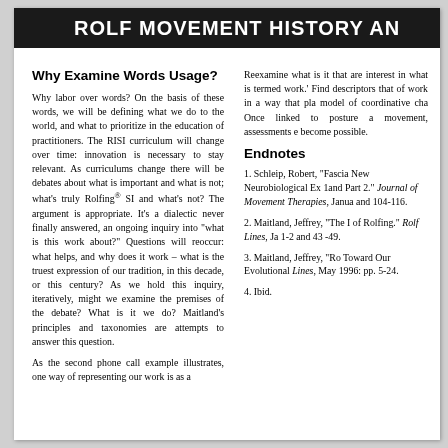ROLF MOVEMENT HISTORY AN
Why Examine Words Usage?
Why labor over words? On the basis of these words, we will be defining what we do to the world, and what to prioritize in the education of practitioners. The RISI curriculum will change over time: innovation is necessary to stay relevant. As curriculums change there will be debates about what is important and what is not; what's truly Rolfing® SI and what's not? The argument is appropriate. It’s a dialectic never finally answered, an ongoing inquiry into “what is this work about?” Questions will reoccur: what helps, and why does it work – what is the truest expression of our tradition, in this decade, or this century? As we hold this inquiry, iteratively, might we examine the premises of the debate? What is it we do? Maitland’s principles and taxonomies are attempts to answer this question.
As the second phone call example illustrates, one way of representing our work is as a
Reexamine what is it that are interest in what is termed work.’ Find descriptors that of work in a way that pla model of coordinative cha Once linked to posture a movement, assessments e become possible.
Endnotes
1. Schleip, Robert, “Fascia New Neurobiological Ex 1and Part 2.” Journal of Movement Therapies, Janua and 104-116.
2. Maitland, Jeffrey, “The I of Rolfing.” Rolf Lines, Ja 1-2 and 43 -49.
3. Maitland, Jeffrey, “Ro Toward Our Evolutional Lines, May 1996: pp. 5-24.
4. Ibid.